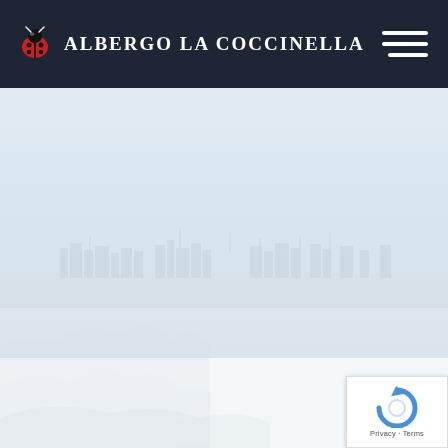ALBERGO LA COCCINELLA
[Figure (photo): Faded coastal harbor panoramic photo with rocks in the foreground and boats/buildings visible in the background, very washed out and light]
[Figure (logo): Google reCAPTCHA badge with spinning arrow icon and Privacy - Terms text]